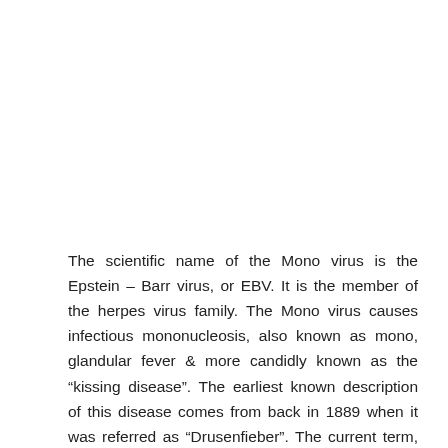The scientific name of the Mono virus is the Epstein – Barr virus, or EBV. It is the member of the herpes virus family. The Mono virus causes infectious mononucleosis, also known as mono, glandular fever & more candidly known as the “kissing disease”. The earliest known description of this disease comes from back in 1889 when it was referred as “Drusenfieber”. The current term, mononucleosis became commonly used for mono virus in 1920 when an unlikely high number of lymphocytes were